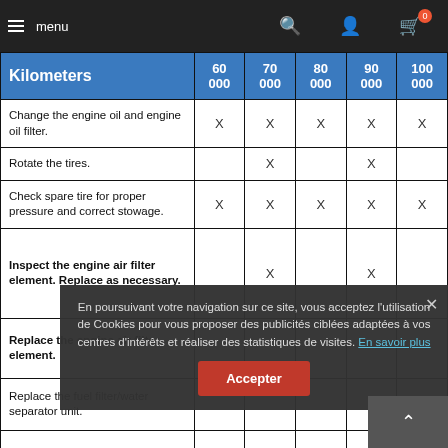menu [navigation bar with search, user, and cart icons]
| Kilometers | 60 000 | 70 000 | 80 000 | 90 000 | 100 000 |
| --- | --- | --- | --- | --- | --- |
| Change the engine oil and engine oil filter. | X | X | X | X | X |
| Rotate the tires. |  | X |  | X |  |
| Check spare tire for proper pressure and correct stowage. | X | X | X | X | X |
| Inspect the engine air filter element. Replace as necessary. |  | X |  | X |  |
| Replace the engine air filter element. |  |  |  |  |  |
| Replace the fuel filter/water separator unit. |  |  |  |  |  |
En poursuivant votre navigation sur ce site, vous acceptez l'utilisation de Cookies pour vous proposer des publicités ciblées adaptées à vos centres d'intérêts et réaliser des statistiques de visites. En savoir plus